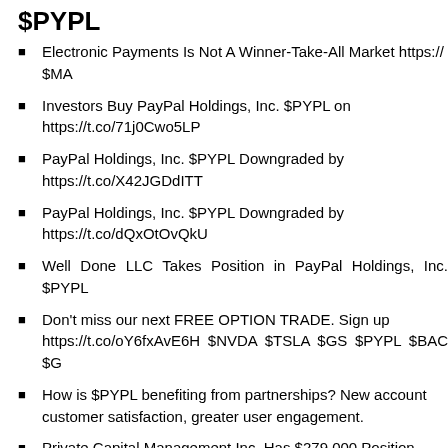$PYPL
Electronic Payments Is Not A Winner-Take-All Market https://... $MA
Investors Buy PayPal Holdings, Inc. $PYPL on https://t.co/71j0Cwo5LP
PayPal Holdings, Inc. $PYPL Downgraded by https://t.co/X42JGDdITT
PayPal Holdings, Inc. $PYPL Downgraded by https://t.co/dQxOtOvQkU
Well Done LLC Takes Position in PayPal Holdings, Inc. $PYPL
Don't miss our next FREE OPTION TRADE. Sign up https://t.co/oY6fxAvE6H $NVDA $TSLA $GS $PYPL $BAC $G
How is $PYPL benefiting from partnerships? New account... customer satisfaction, greater user engagement.
Private Capital Management Inc. Has $279,000 Position https://t.co/UIENaaQear